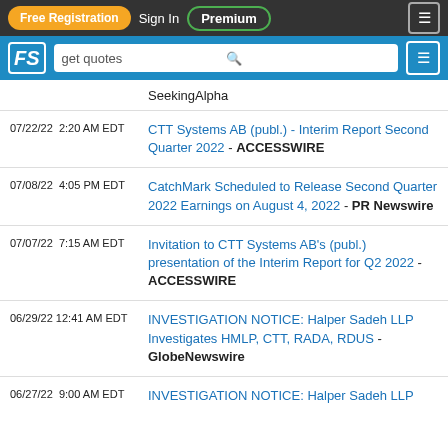Free Registration | Sign In | Premium
FS | get quotes
SeekingAlpha
07/22/22 2:20 AM EDT CTT Systems AB (publ.) - Interim Report Second Quarter 2022 - ACCESSWIRE
07/08/22 4:05 PM EDT CatchMark Scheduled to Release Second Quarter 2022 Earnings on August 4, 2022 - PR Newswire
07/07/22 7:15 AM EDT Invitation to CTT Systems AB's (publ.) presentation of the Interim Report for Q2 2022 - ACCESSWIRE
06/29/22 12:41 AM EDT INVESTIGATION NOTICE: Halper Sadeh LLP Investigates HMLP, CTT, RADA, RDUS - GlobeNewswire
06/27/22 9:00 AM EDT INVESTIGATION NOTICE: Halper Sadeh LLP...